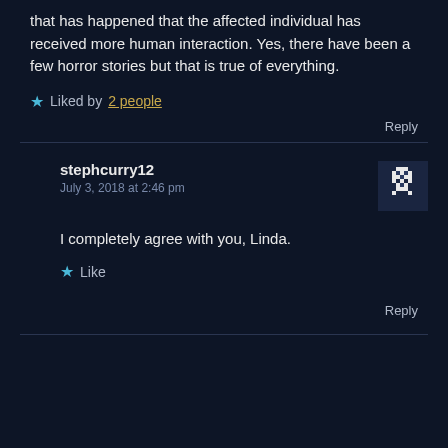that has happened that the affected individual has received more human interaction. Yes, there have been a few horror stories but that is true of everything.
Liked by 2 people
Reply
stephcurry12
July 3, 2018 at 2:46 pm
I completely agree with you, Linda.
Like
Reply